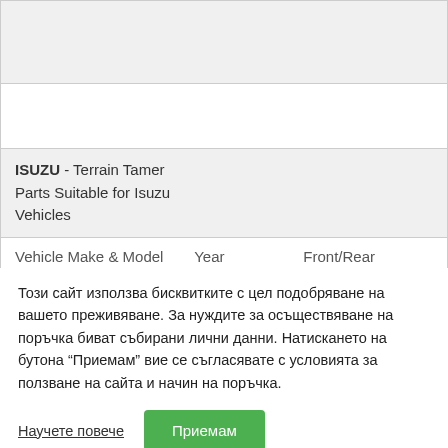| Vehicle Make & Model | Year | Front/Rear | Susp |
| --- | --- | --- | --- |
|  |  |  |  |
|  |  |  |  |
| ISUZU - Terrain Tamer Parts Suitable for Isuzu Vehicles |  |  |  |
| Vehicle Make & Model | Year | Front/Rear | Susp |
Този сайт използва бисквитките с цел подобряване на вашето преживяване. За нуждите за осъществяване на поръчка биват събирани лични данни. Натискането на бутона "Приемам" вие се съгласявате с условията за ползване на сайта и начин на поръчка.
Научете повече
Приемам